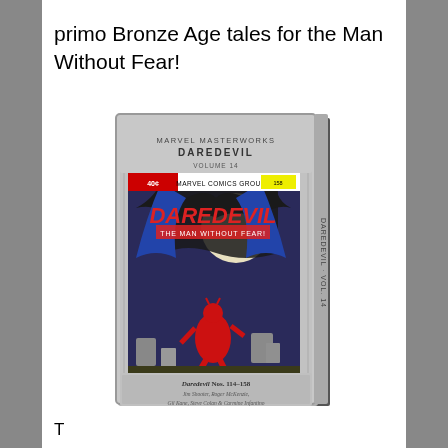primo Bronze Age tales for the Man Without Fear!
[Figure (photo): Marvel Masterworks Daredevil Volume 14 hardcover book. Gray ornate cover with an embedded comic book cover showing Daredevil (in red costume) leaping against a night scene with a shadowy figure above. Bottom of book reads: DAREDEVIL Nos. 114-128, Jim Shooter, Roger McKenzie, Gil Kane, Steve Colan & Carmine Infantino, with Frank Miller.]
T